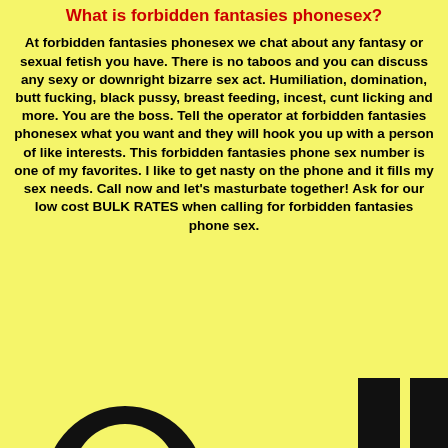What is forbidden fantasies phonesex?
At forbidden fantasies phonesex we chat about any fantasy or sexual fetish you have. There is no taboos and you can discuss any sexy or downright bizarre sex act. Humiliation, domination, butt fucking, black pussy, breast feeding, incest, cunt licking and more. You are the boss. Tell the operator at forbidden fantasies phonesex what you want and they will hook you up with a person of like interests. This forbidden fantasies phone sex number is one of my favorites. I like to get nasty on the phone and it fills my sex needs. Call now and let's masturbate together! Ask for our low cost BULK RATES when calling for forbidden fantasies phone sex.